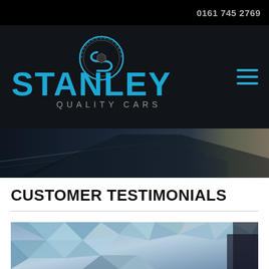0161 745 2769
[Figure (logo): Stanley Quality Cars logo with circular S emblem and blue text]
[Figure (photo): Dark car roof/body panel close-up photo used as banner]
CUSTOMER TESTIMONIALS
[Figure (photo): Low-poly geometric blue/grey abstract background image at bottom of page]